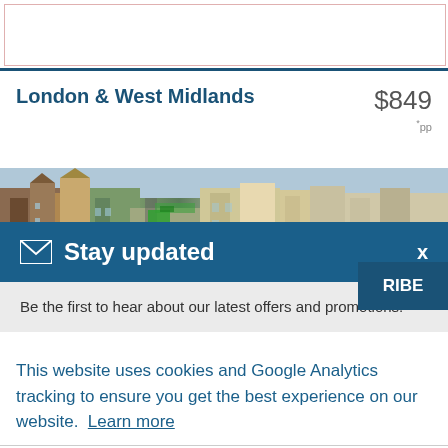London & West Midlands
$849 * pp
[Figure (photo): Aerial view of a European city street with historic buildings and traffic]
Stay updated
Be the first to hear about our latest offers and promotions.
RIBE
This website uses cookies and Google Analytics tracking to ensure you get the best experience on our website. Learn more
Got it!